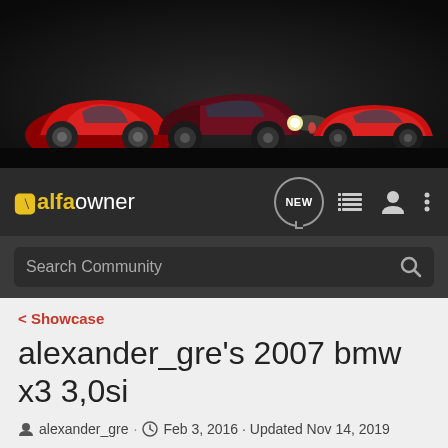[Figure (photo): Banner image showing three Alfa Romeo sports cars — a modern red Alfa Romeo 4C on the left, a dark maroon vintage Alfa Romeo in the center with headlights on, and a red vintage Alfa Romeo on the right, all on a dark background.]
alfaowner — NEW (button), list icon, user icon, menu icon
Search Community
< Showcase
alexander_gre's 2007 bmw x3 3,0si
alexander_gre · Feb 3, 2016 · Updated Nov 14, 2019
+ Follow